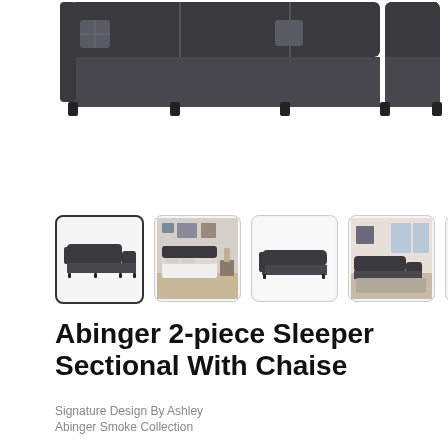[Figure (photo): Main product image of Abinger 2-piece Sleeper Sectional With Chaise in dark charcoal/smoke fabric, top-cropped view showing the L-shaped sectional sofa with chaise]
[Figure (photo): Thumbnail 1 (selected): Abinger sectional sofa, charcoal, angled front view]
[Figure (photo): Thumbnail 2: Sectional with sleeper pulled out showing mattress in a room setting]
[Figure (photo): Thumbnail 3: Side/profile view of the Abinger sectional sofa]
[Figure (photo): Thumbnail 4: Abinger sectional sofa in a decorated room setting]
Abinger 2-piece Sleeper Sectional With Chaise
Signature Design By Ashley
Abinger Smoke Collection